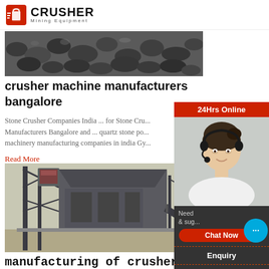CRUSHER Mining Equipment
[Figure (photo): Pile of crushed coal or aggregate material]
crusher machine manufacturers bangalore
Stone Crusher Companies India ... for Stone Crusher Manufacturers Bangalore and ... quartz stone po... machinery manufacturing companies in india Gy...
Read More
[Figure (photo): Large industrial crusher machine on a steel structure frame]
manufacturing of crusher in
Manufacturing Companies : manufacturing of cr... hebbal Bangalore - Gifto Crystal Kempapura, Ra...
[Figure (infographic): Right sidebar with 24Hrs Online banner, customer service agent photo with headset, chat bubble, Chat Now button, Enquiry link, and limingjlmofen@sina.com email]